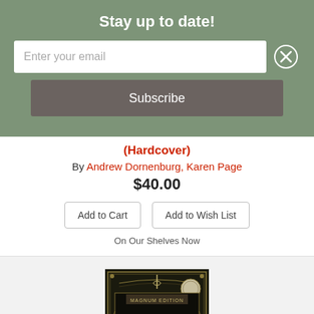Stay up to date!
Enter your email
Subscribe
(Hardcover)
By Andrew Dornenburg, Karen Page
$40.00
Add to Cart
Add to Wish List
On Our Shelves Now
[Figure (photo): Wine Folly: The Master Guide (Magnum Edition) book cover — dark ornate design with wine glass and decorative gold/black artwork]